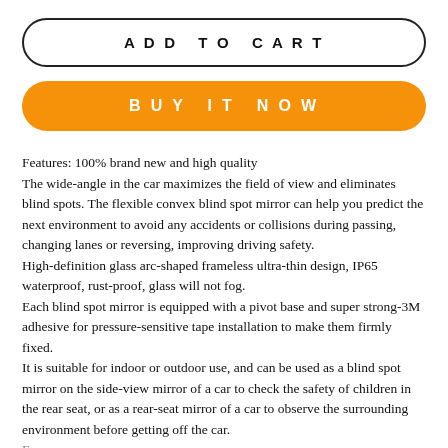ADD TO CART
BUY IT NOW
Features: 100% brand new and high quality
The wide-angle in the car maximizes the field of view and eliminates blind spots. The flexible convex blind spot mirror can help you predict the next environment to avoid any accidents or collisions during passing, changing lanes or reversing, improving driving safety.
High-definition glass arc-shaped frameless ultra-thin design, IP65 waterproof, rust-proof, glass will not fog.
Each blind spot mirror is equipped with a pivot base and super strong-3M adhesive for pressure-sensitive tape installation to make them firmly fixed.
It is suitable for indoor or outdoor use, and can be used as a blind spot mirror on the side-view mirror of a car to check the safety of children in the rear seat, or as a rear-seat mirror of a car to observe the surrounding environment before getting off the car.